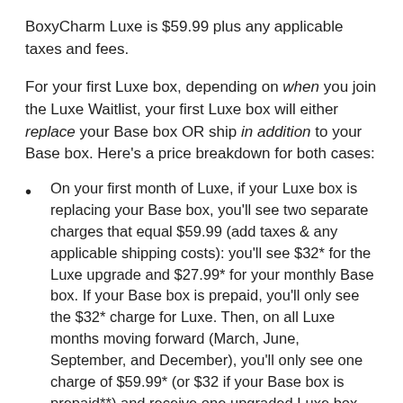BoxyCharm Luxe is $59.99 plus any applicable taxes and fees.
For your first Luxe box, depending on when you join the Luxe Waitlist, your first Luxe box will either replace your Base box OR ship in addition to your Base box. Here's a price breakdown for both cases:
On your first month of Luxe, if your Luxe box is replacing your Base box, you'll see two separate charges that equal $59.99 (add taxes & any applicable shipping costs): you'll see $32* for the Luxe upgrade and $27.99* for your monthly Base box. If your Base box is prepaid, you'll only see the $32* charge for Luxe. Then, on all Luxe months moving forward (March, June, September, and December), you'll only see one charge of $59.99* (or $32 if your Base box is prepaid**) and receive one upgraded Luxe box that replaces your Base box.
If your first Luxe box shipping is in addition to your Base box...